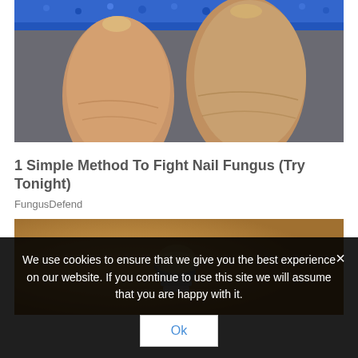[Figure (photo): Close-up photo of fingers with nail fungus, wearing blue textured glove/fabric at top]
1 Simple Method To Fight Nail Fungus (Try Tonight)
FungusDefend
[Figure (photo): Photo of a light bulb on a warm golden/brown background]
We use cookies to ensure that we give you the best experience on our website. If you continue to use this site we will assume that you are happy with it.
Ok